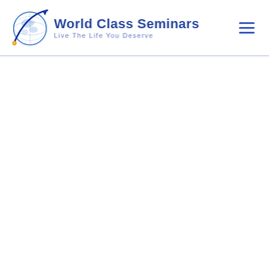[Figure (logo): World Class Seminars logo: a blue globe with a rocket/pen swoosh overlay, alongside bold blue text 'World Class Seminars' and smaller blue-grey tagline 'Live The Life You Deserve']
[Figure (other): Hamburger menu icon (three horizontal blue lines) in the top-right corner]